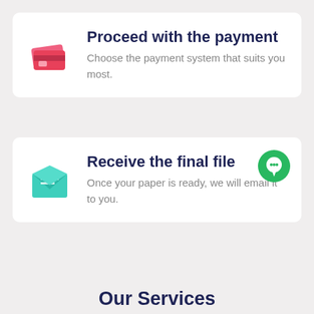Proceed with the payment
Choose the payment system that suits you most.
Receive the final file
Once your paper is ready, we will email it to you.
Our Services